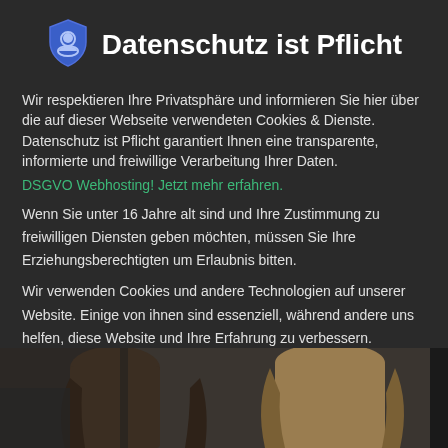Datenschutz ist Pflicht
Wir respektieren Ihre Privatsphäre und informieren Sie hier über die auf dieser Webseite verwendeten Cookies & Dienste. Datenschutz ist Pflicht garantiert Ihnen eine transparente, informierte und freiwillige Verarbeitung Ihrer Daten.
DSGVO Webhosting! Jetzt mehr erfahren.
Wenn Sie unter 16 Jahre alt sind und Ihre Zustimmung zu freiwilligen Diensten geben möchten, müssen Sie Ihre Erziehungsberechtigten um Erlaubnis bitten.
Wir verwenden Cookies und andere Technologien auf unserer Website. Einige von ihnen sind essenziell, während andere uns helfen, diese Website und Ihre Erfahrung zu verbessern.
[Figure (photo): Photo of two women seen from behind, with long hair, in a dark interior setting]